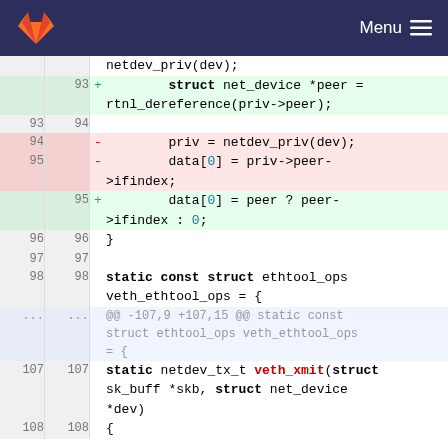GitLab — Menu
[Figure (screenshot): Code diff view showing changes to a C source file, with line numbers, added lines (green), removed lines (red), and context lines.]